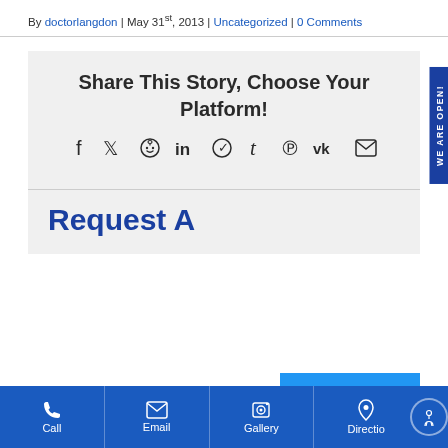By doctorlangdon | May 31st, 2013 | Uncategorized | 0 Comments
Share This Story, Choose Your Platform!
[Figure (infographic): Social media sharing icons: Facebook, Twitter, Reddit, LinkedIn, WhatsApp, Tumblr, Pinterest, VK, Email]
Request A
Call | Email | Gallery | Directions